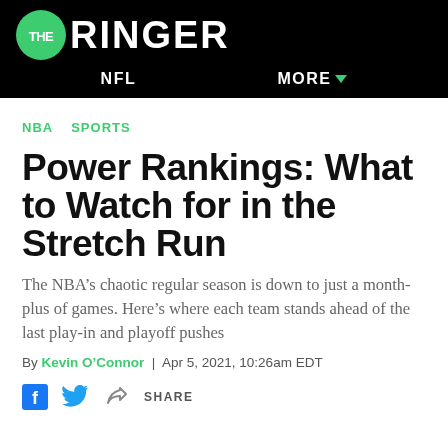THE RINGER | NFL | MORE
NBA  SPORTS
Power Rankings: What to Watch for in the Stretch Run
The NBA’s chaotic regular season is down to just a month-plus of games. Here’s where each team stands ahead of the last play-in and playoff pushes
By Kevin O’Connor | Apr 5, 2021, 10:26am EDT
SHARE